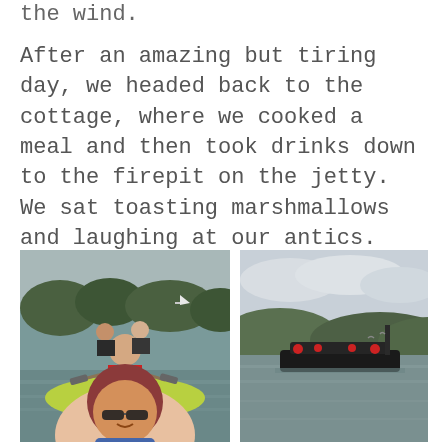the wind.
After an amazing but tiring day, we headed back to the cottage, where we cooked a meal and then took drinks down to the firepit on the jetty. We sat toasting marshmallows and laughing at our antics.
[Figure (photo): Selfie of people kayaking on a calm river/estuary with trees and a sailboat in the background. A woman with red hair and sunglasses is in the foreground, a bald man in a red life jacket paddles behind her, and two more people are visible further back.]
[Figure (photo): A partly submerged or low-lying dark boat/pontoon on open water with hills and cloudy sky in the background.]